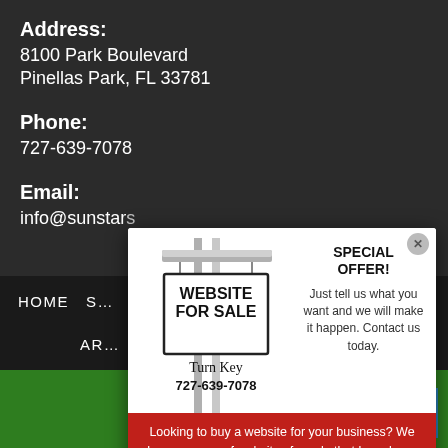Address:
8100 Park Boulevard
Pinellas Park, FL 33781
Phone:
727-639-7078
Email:
info@sunstar...
HOME   S...   LOCATIONS
AR...   AP
[Figure (other): Website For Sale popup modal with a real estate sign graphic reading 'WEBSITE FOR SALE', 'Turn Key', '727-639-7078', a special offer section, and a red bottom section with text about buying a website.]
SPECIAL OFFER!
Just tell us what you want and we will make it happen. Contact us today.
Looking to buy a website for your business? We have a range of websites for sale that have been professionally vetted by our experienced team.